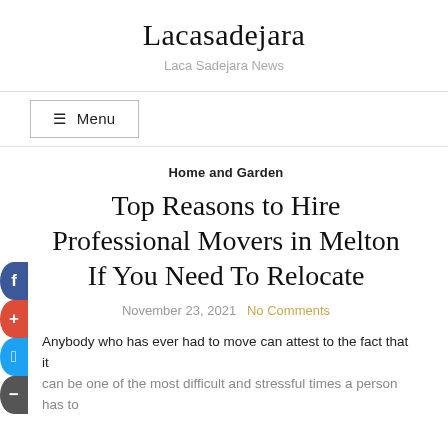Lacasadejara
Laca Sadejara News
☰ Menu
Home and Garden
Top Reasons to Hire Professional Movers in Melton If You Need To Relocate
November 23, 2021  No Comments
Anybody who has ever had to move can attest to the fact that it